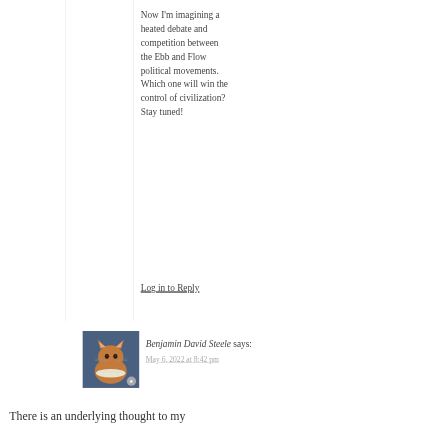Now I'm imagining a heated debate and competition between the Ebb and Flow political movements. Which one will win the control of civilization? Stay tuned!
Log in to Reply
Benjamin David Steele says:
May 6, 2022 at 8:42 pm
[Figure (photo): Avatar photo of a cat wearing a ruffled collar, with a star badge in the lower right corner]
There is an underlying thought to my